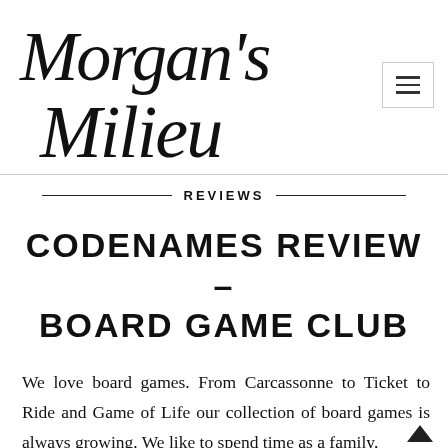Morgan's Milieu
REVIEWS
CODENAMES REVIEW - BOARD GAME CLUB
We love board games. From Carcassonne to Ticket to Ride and Game of Life our collection of board games is always growing. We like to spend time as a family,